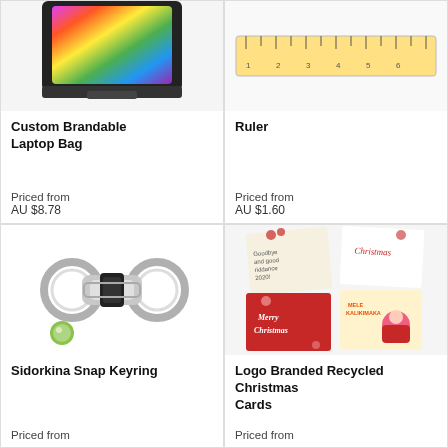[Figure (photo): Custom brandable laptop bag product image (partially visible at top)]
Custom Brandable Laptop Bag
Priced from
AU $8.78
[Figure (photo): Ruler product image (partially visible)]
Ruler
Priced from
AU $1.60
[Figure (photo): Sidorkina Snap Keyring - silver metal keyring with black leather strap and small green button element]
Sidorkina Snap Keyring
Priced from
[Figure (photo): Logo Branded Recycled Christmas Cards - collage of four Christmas cards with festive designs]
Logo Branded Recycled Christmas Cards
Priced from